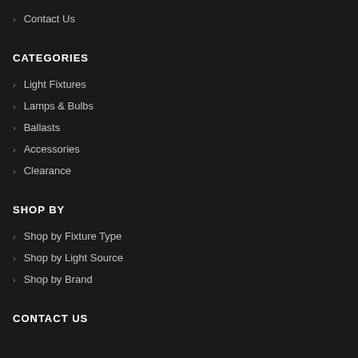Contact Us
CATEGORIES
Light Fixtures
Lamps & Bulbs
Ballasts
Accessories
Clearance
SHOP BY
Shop by Fixture Type
Shop by Light Source
Shop by Brand
CONTACT US